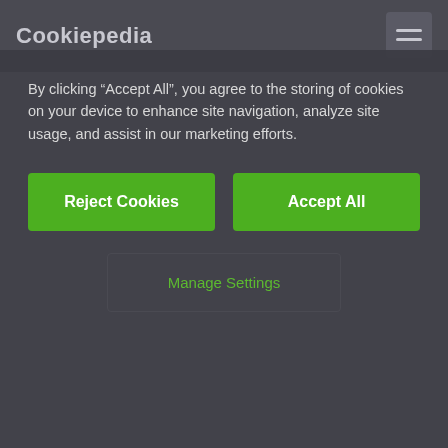Cookiepedia
By clicking “Accept All”, you agree to the storing of cookies on your device to enhance site navigation, analyze site usage, and assist in our marketing efforts.
Reject Cookies
Accept All
Manage Settings
See all cookies on this website
Host:
everesttech.net
Life Span (days): 365